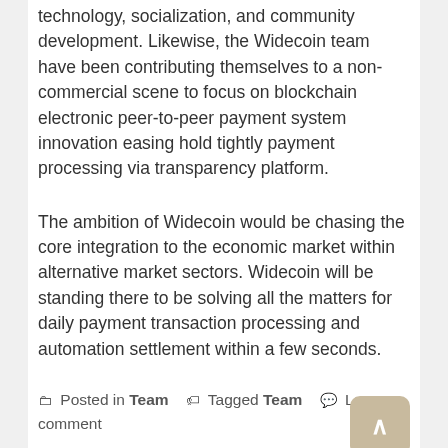technology, socialization, and community development. Likewise, the Widecoin team have been contributing themselves to a non-commercial scene to focus on blockchain electronic peer-to-peer payment system innovation easing hold tightly payment processing via transparency platform.
The ambition of Widecoin would be chasing the core integration to the economic market within alternative market sectors. Widecoin will be standing there to be solving all the matters for daily payment transaction processing and automation settlement within a few seconds.
Posted in Team   Tagged Team   Leave a comment